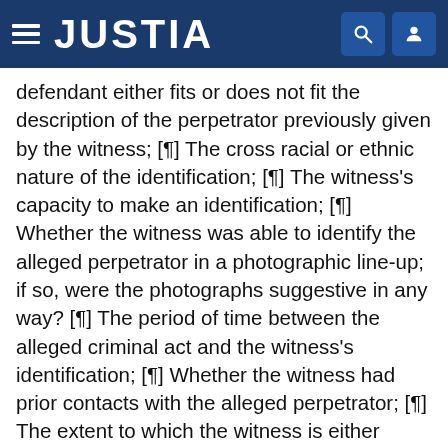JUSTIA
defendant either fits or does not fit the description of the perpetrator previously given by the witness; [¶] The cross racial or ethnic nature of the identification; [¶] The witness's capacity to make an identification; [¶] Whether the witness was able to identify the alleged perpetrator in a photographic line-up; if so, were the photographs suggestive in any way? [¶] The period of time between the alleged criminal act and the witness's identification; [¶] Whether the witness had prior contacts with the alleged perpetrator; [¶] The extent to which the witness is either certain or uncertain of the identification; [¶] Whether the witness's identification is in fact the product of his own recollection; [¶] Any other evidence relating to the witness's ability to make an identification."
FN 4. United States v. Wade (1967) 388 U.S. 218 [18 L. Ed.